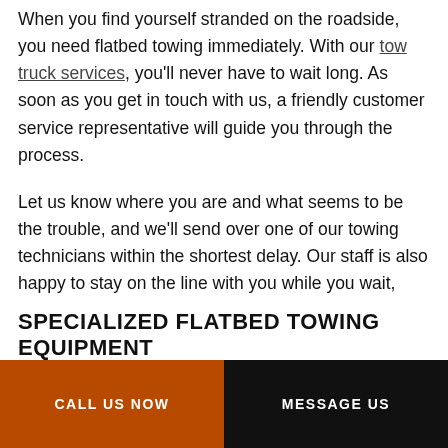When you find yourself stranded on the roadside, you need flatbed towing immediately. With our tow truck services, you'll never have to wait long. As soon as you get in touch with us, a friendly customer service representative will guide you through the process.
Let us know where you are and what seems to be the trouble, and we'll send over one of our towing technicians within the shortest delay. Our staff is also happy to stay on the line with you while you wait, answering any questions you may have in the meantime. Rest assured, a flatbed truck will be on the scene to be of assistance before you know it.
SPECIALIZED FLATBED TOWING EQUIPMENT
CALL US NOW
MESSAGE US